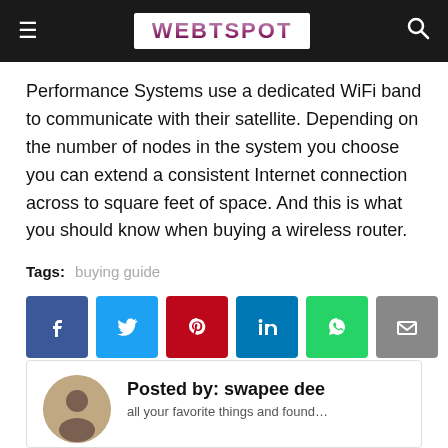WEBTSPOT
Performance Systems use a dedicated WiFi band to communicate with their satellite. Depending on the number of nodes in the system you choose you can extend a consistent Internet connection across to square feet of space. And this is what you should know when buying a wireless router.
Tags: buying guide
[Figure (infographic): Social sharing buttons: Facebook (blue), Twitter (light blue), Pinterest (red), LinkedIn (dark blue), WhatsApp (green), Email (grey)]
Posted by: swapee dee